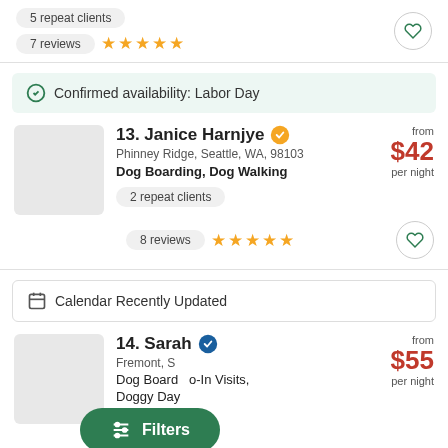5 repeat clients
7 reviews ★★★★★
Confirmed availability: Labor Day
13. Janice Harnjye
Phinney Ridge, Seattle, WA, 98103
Dog Boarding, Dog Walking
from $42 per night
2 repeat clients
8 reviews ★★★★★
Calendar Recently Updated
14. Sarah
Fremont, S...
Dog Boarding, Drop-In Visits, Doggy Day...
from $55 per night
Filters